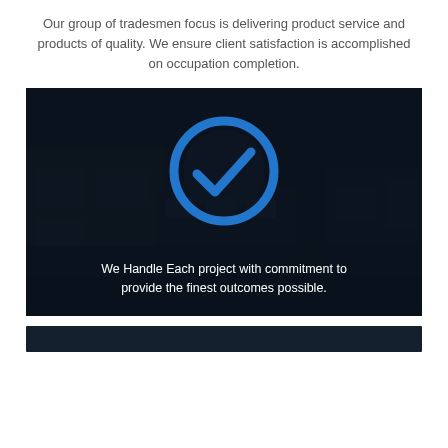Our group of tradesmen focus is delivering product service and products of quality. We ensure client satisfaction is accomplished on occupation completion.
[Figure (illustration): Dark background industrial/warehouse scene with a large blue circle checkmark icon overlaid in the center, and text overlay at the bottom reading 'We Handle Each project with commitment to provide the finest outcomes possible.']
We Handle Each project with commitment to provide the finest outcomes possible.